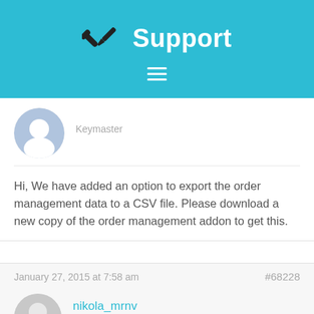[Figure (logo): Support page header with tools/wrench icon and 'Support' title text on teal background, with hamburger menu icon below]
Keymaster
Hi, We have added an option to export the order management data to a CSV file. Please download a new copy of the order management addon to get this.
January 27, 2015 at 7:58 am
#68228
nikola_mrnv
Member